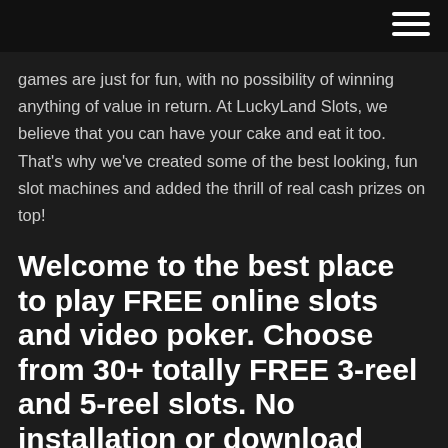[hamburger menu icon]
games are just for fun, with no possibility of winning anything of value in return. At LuckyLand Slots, we believe that you can have your cake and eat it too. That's why we've created some of the best looking, fun slot machines and added the thrill of real cash prizes on top!
Welcome to the best place to play FREE online slots and video poker. Choose from 30+ totally FREE 3-reel and 5-reel slots. No installation or download needed, just …
Play Slots Tournaments to Win FREE Prizes YOU can play